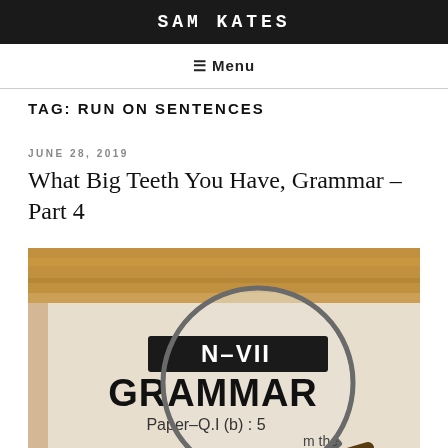SAM KATES
☰ Menu
TAG: RUN ON SENTENCES
JUNE 28, 2019
What Big Teeth You Have, Grammar – Part 4
[Figure (photo): A magnifying glass over a grammar book showing text 'N-VII GRAMMAR Paper-Q.I(b): 5' and 'the', with a wooden ruler in the background]